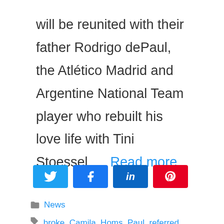will be reunited with their father Rodrigo dePaul, the Atlético Madrid and Argentine National Team player who rebuilt his love life with Tini Stoessel. ... Read more
[Figure (other): Social share buttons: Twitter (blue), Facebook (blue), LinkedIn (dark blue), Pinterest (red)]
News
broke, Camila, Homs, Paul, referred, Rodrigo, separation, silence, Stoessel, Tini